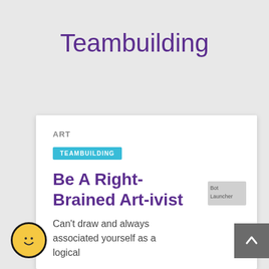Teambuilding
ART
TEAMBUILDING
Be A Right-Brained Art-ivist
Can't draw and always associated yourself as a logical
[Figure (illustration): Bot Launcher image placeholder]
[Figure (illustration): Smiley face chat button, yellow circle with smiley face on black background]
[Figure (illustration): Back to top button, grey square with upward chevron arrow in white]